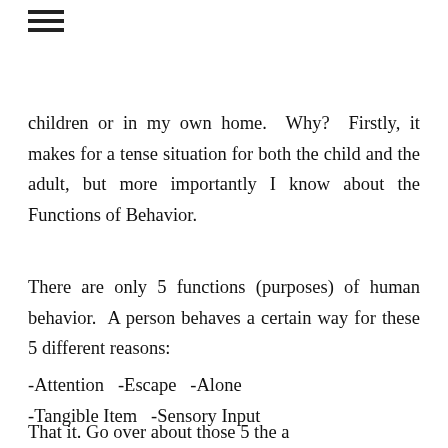≡
children or in my own home.  Why?  Firstly, it makes for a tense situation for both the child and the adult, but more importantly I know about the Functions of Behavior.
There are only 5 functions (purposes) of human behavior.  A person behaves a certain way for these 5 different reasons:
-Attention   -Escape   -Alone
-Tangible Item   -Sensory Input
That it. Go over about those 5 the a ...